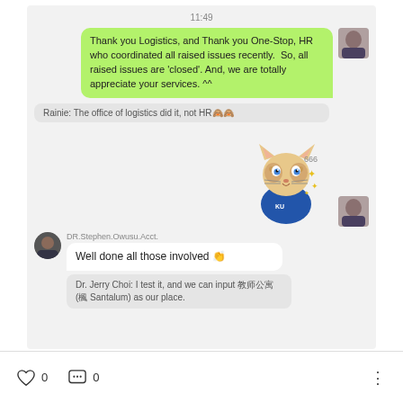11:49
Thank you Logistics, and Thank you One-Stop, HR who coordinated all raised issues recently. So, all raised issues are 'closed'. And, we are totally appreciate your services. ^^
Rainie: The office of logistics did it, not HR🙈🙈
[Figure (illustration): Animated cat/lion sticker wearing a blue KU shirt with sparkle symbols and '666' text]
DR.Stephen.Owusu.Acct.
Well done all those involved 👏
Dr. Jerry Choi: I test it, and we can input 教师公寓 (楓 Santalum) as our place.
0
0